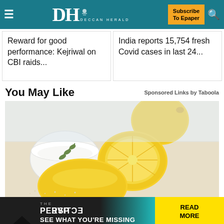DH DECCAN HERALD — Subscribe To Epaper
Reward for good performance: Kejriwal on CBI raids...
India reports 15,754 fresh Covid cases in last 24...
You May Like
Sponsored Links by Taboola
[Figure (photo): Photo of lemons and baking soda bowl on a wooden cutting board]
[Figure (infographic): Ad banner: THE PERSPECTIVE — SEE WHAT YOU'RE MISSING — READ MORE]